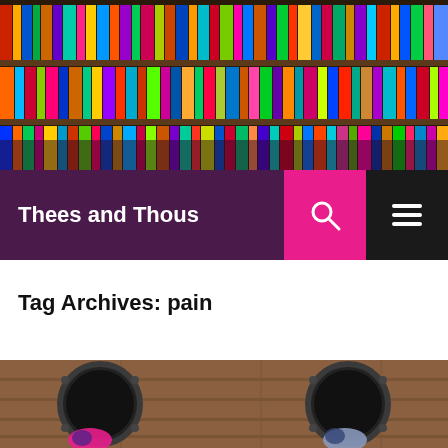[Figure (photo): Colorful book spines on library shelves, header banner image]
Thees and Thous
Tag Archives: pain
[Figure (photo): Two children (from above) crawling through circular porthole openings in a wooden wall/floor surface]